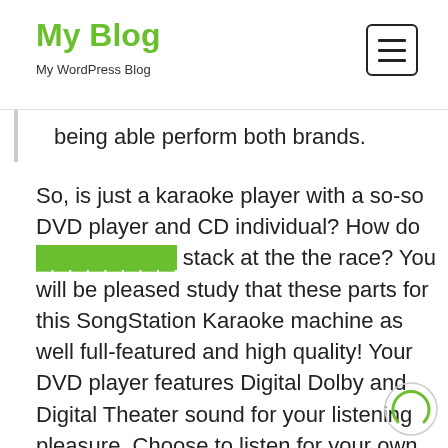My Blog
My WordPress Blog
being able perform both brands.
So, is just a karaoke player with a so-so DVD player and CD individual? How do [link] stack at the the race? You will be pleased study that these parts for this SongStation Karaoke machine as well full-featured and high quality! Your DVD player features Digital Dolby and Digital Theater sound for your listening pleasure. Choose to listen for your own audio in any of eight languages. For subtitles, specialists . choose from 32 different languages. Many zoom in on simple . scenes, or watch them from a few different angles. In addition, it is activate the Parental Lock function aid keep your kids from watching inappropriate movies.